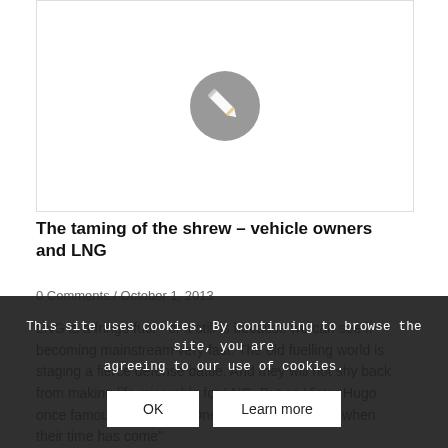[Figure (illustration): Gray circle with a white pencil/edit icon in the center, on a white background with a light border]
The taming of the shrew – vehicle owners and LNG
0 Comments / October 1, 2013
LNG is a fringe fuel - or it still is because we can see it becoming mainstream very fast. The old fuelling world is staging a fierce defense battle. And they will not shy back from making life miserable for LNG. But as Victor Hugo once famously claimed, "One cannot resist ideas when their time has come"
This site uses cookies. By continuing to browse the site, you are agreeing to our use of cookies.